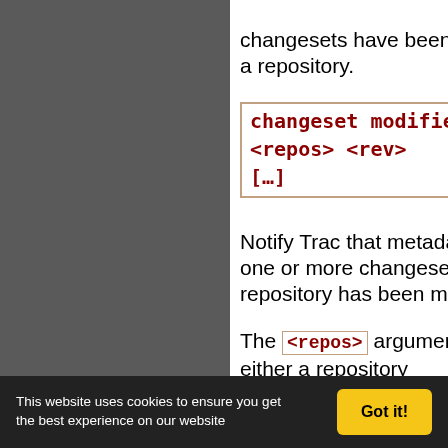changesets have been added to a repository.
changeset modified <repos> <rev> [...]
Notify Trac that metadata on one or more changesets in a repository has been modified.
The <repos> argument can be either a repository
This website uses cookies to ensure you get the best experience on our website